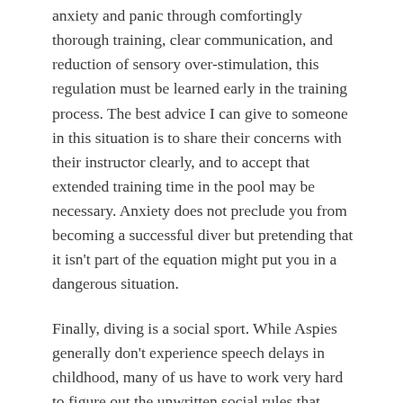anxiety and panic through comfortingly thorough training, clear communication, and reduction of sensory over-stimulation, this regulation must be learned early in the training process. The best advice I can give to someone in this situation is to share their concerns with their instructor clearly, and to accept that extended training time in the pool may be necessary. Anxiety does not preclude you from becoming a successful diver but pretending that it isn't part of the equation might put you in a dangerous situation.
Finally, diving is a social sport. While Aspies generally don't experience speech delays in childhood, many of us have to work very hard to figure out the unwritten social rules that neurotypicals grasp quickly. Different Aspies do this at different rates during different stages of their lives, and some will probably never understand their neurotypical peers. I don't personally see this as a failure